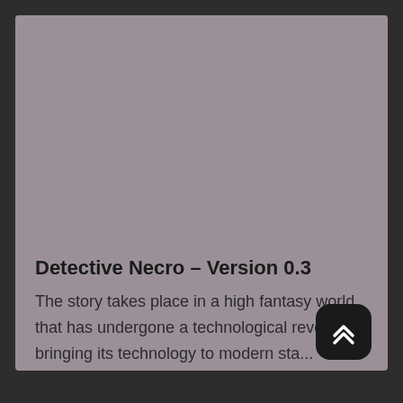[Figure (photo): Large grey placeholder image area at the top of a card]
Detective Necro – Version 0.3
The story takes place in a high fantasy world that has undergone a technological revolution, bringing its technology to modern sta...